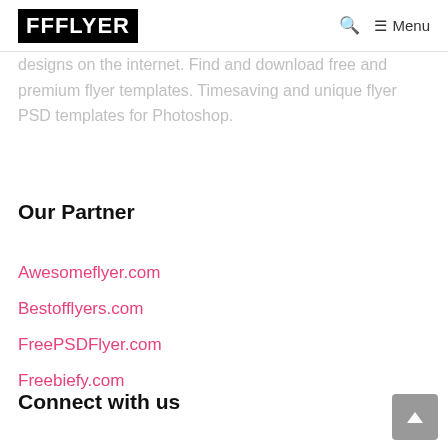FFFLYER | Menu
designs on the internet. Find and download free and premium flyer templates. Timesaving and unique flyer PSD templates for Photoshop.
Our Partner
Awesomeflyer.com
Bestofflyers.com
FreePSDFlyer.com
Freebiefy.com
Connect with us